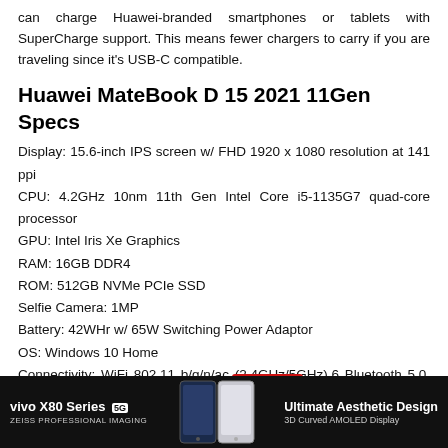can charge Huawei-branded smartphones or tablets with SuperCharge support. This means fewer chargers to carry if you are traveling since it's USB-C compatible.
Huawei MateBook D 15 2021 11Gen Specs
Display: 15.6-inch IPS screen w/ FHD 1920 x 1080 resolution at 141 ppi
CPU: 4.2GHz 10nm 11th Gen Intel Core i5-1135G7 quad-core processor
GPU: Intel Iris Xe Graphics
RAM: 16GB DDR4
ROM: 512GB NVMe PCIe SSD
Selfie Camera: 1MP
Battery: 42WHr w/ 65W Switching Power Adaptor
OS: Windows 10 Home
Connectivity: WiFi 802.11 b/g/n/ac (2.4GHz/5GHz),6 Bluetooth 5.0, 1x USB-C, 1x USB-A 3.0, 2x USB-A 2.0, HDMI, 3.5mm headphone jack
[Figure (infographic): Advertisement banner for vivo X80 Series 5G with ZEISS PROFESSIONAL IMAGING text, phone images, and 'Ultimate Aesthetic Design 3D Curved AMOLED Display' tagline]